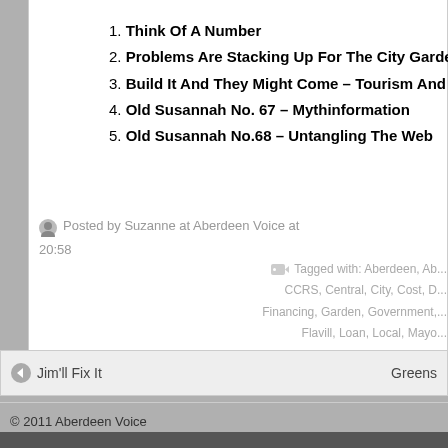1. Think Of A Number
2. Problems Are Stacking Up For The City Garden Project
3. Build It And They Might Come – Tourism And The Fate Of
4. Old Susannah No. 67 – Mythinformation
5. Old Susannah No.68 – Untangling The Web
Posted by Suzanne at Aberdeen Voice at 20:58
Tagged with: Aberdeen, Ab... CCRS, Central, City, Cost, D... Financing, Garden, Government,... Flavill, Loan, Local, Mayo...
Jim'll Fix It
Greens
© 2011 Aberdeen Voice